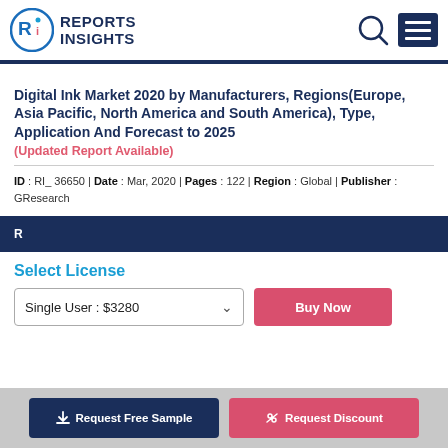Reports Insights
Digital Ink Market 2020 by Manufacturers, Regions(Europe, Asia Pacific, North America and South America), Type, Application And Forecast to 2025
(Updated Report Available)
ID : RI_ 36650 | Date : Mar, 2020 | Pages : 122 | Region : Global | Publisher : GResearch
Select License
Single User : $3280
Buy Now
Request Free Sample
Request Discount